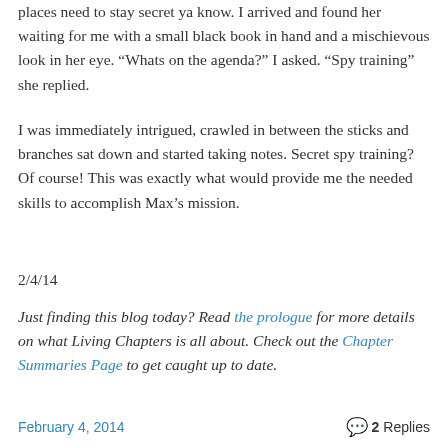places need to stay secret ya know. I arrived and found her waiting for me with a small black book in hand and a mischievous look in her eye. “Whats on the agenda?” I asked. “Spy training” she replied.
I was immediately intrigued, crawled in between the sticks and branches sat down and started taking notes. Secret spy training? Of course! This was exactly what would provide me the needed skills to accomplish Max’s mission.
2/4/14
Just finding this blog today? Read the prologue for more details on what Living Chapters is all about. Check out the Chapter Summaries Page to get caught up to date.
February 4, 2014   2 Replies